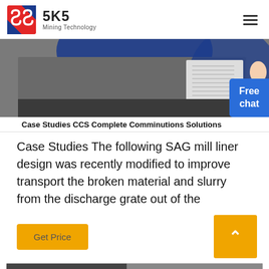SKS Mining Technology
[Figure (photo): Mining equipment with blue machinery and crushed ore/gravel material, with a Free chat button overlay]
Case Studies CCS Complete Comminutions Solutions
Case Studies The following SAG mill liner design was recently modified to improve transport the broken material and slurry from the discharge grate out of the
[Figure (screenshot): Get Price button (yellow/orange) and scroll-to-top button (yellow/orange arrow)]
[Figure (photo): Partial view of another case study card at the bottom of the page]